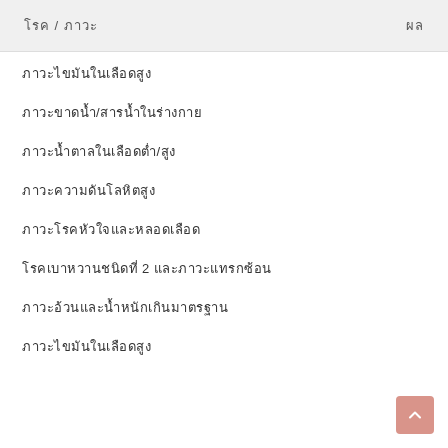โรค / ภาวะ
ภาวะไขมันในเลือดสูง
ภาวะขาดน้ำ/สารน้ำในร่างกาย
ภาวะน้ำตาลในเลือดต่ำ/สูง
ภาวะความดันโลหิตสูง
ภาวะโรคหัวใจและหลอดเลือด
โรคเบาหวานชนิดที่ 2 และภาวะแทรกซ้อน
ภาวะอ้วนและน้ำหนักเกินมาตรฐาน
ภาวะไขมันในเลือดสูง